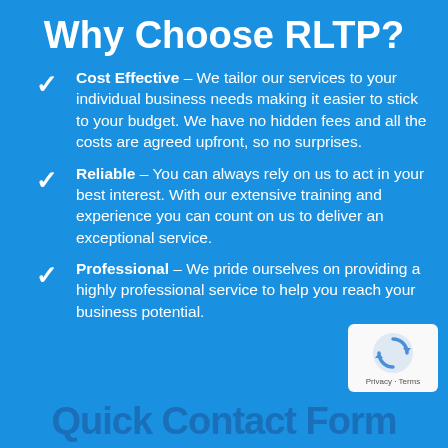Why Choose RLTP?
Cost Effective – We tailor our services to your individual business needs making it easier to stick to your budget. We have no hidden fees and all the costs are agreed upfront, so no surprises.
Reliable – You can always rely on us to act in your best interest. With our extensive training and experience you can count on us to deliver an exceptional service.
Professional – We pride ourselves on providing a highly professional service to help you reach your business potential.
[Figure (logo): reCAPTCHA badge with rotating arrows icon and Privacy - Terms text]
Quick Contact Form